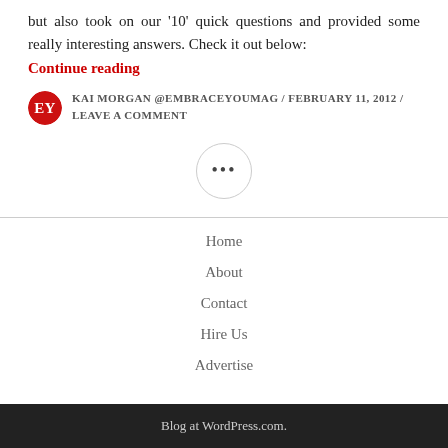but also took on our '10' quick questions and provided some really interesting answers. Check it out below:
Continue reading
KAI MORGAN @EMBRACEYOUMAG / FEBRUARY 11, 2012 / LEAVE A COMMENT
[Figure (other): Circular button with three dots (ellipsis) in the center]
Home
About
Contact
Hire Us
Advertise
Blog at WordPress.com.